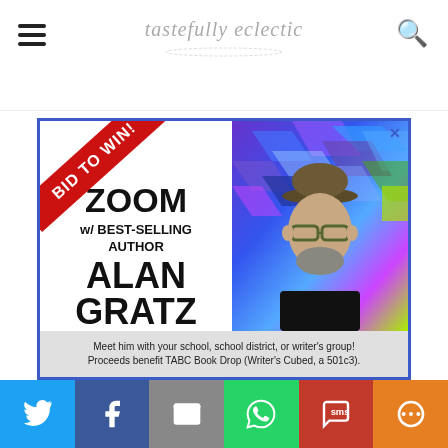tastefully eclectic
[Figure (photo): Advertisement banner: ZOOM w/ BEST-SELLING AUTHOR ALAN GRATZ. BID TO WIN! red diagonal badge. Photo of man with hat and glasses against colorful geometric background. Footer text: Meet him with your school, school district, or writer's group! Proceeds benefit TABC Book Drop (Writer's Cubed, a 501c3).]
a frame (mine was 16×21 inches)
This website uses cookies to improve your experience. We'll assume you're ok with this, but you can opt-out if you wish.
Social share buttons: Twitter, Facebook, Email, WhatsApp, SMS, More